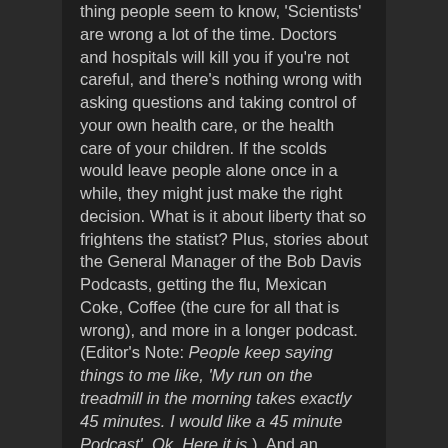thing people seem to know, 'Scientists' are wrong a lot of the time. Doctors and hospitals will kill you if you're not careful, and there's nothing wrong with asking questions and taking control of your own health care, or the health care of your children. If the scolds would leave people alone once in a while, they might just make the right decision. What is it about liberty that so frightens the statist? Plus, stories about the General Manager of the Bob Davis Podcasts, getting the flu, Mexican Coke, Coffee (the cure for all that is wrong), and more in a longer podcast. (Editor's Note: People keep saying things to me like, 'My run on the treadmill in the morning takes exactly 45 minutes. I would like a 45 minute Podcast'. Ok. Here it is.). And an appearance from MPR Bob at the close. Sponsored by Ryan Plumbing and